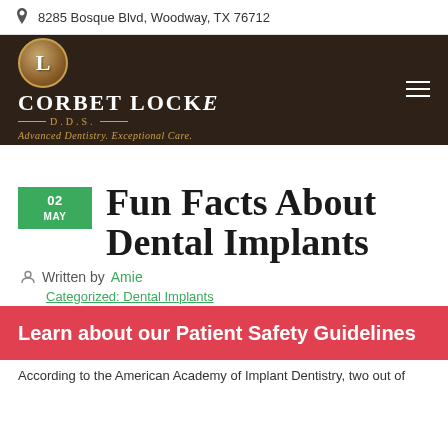8285 Bosque Blvd, Woodway, TX 76712
[Figure (logo): Corbet Locke DDS dental practice logo — circular brown/gold emblem with 'L', brand name in white serif caps, gold D.D.S. line, italic tagline 'Advanced Dentistry. Exceptional Care.']
Fun Facts About Dental Implants
Written by Amie
Learn about our Patient Safety Guidelines
According to the American Academy of Implant Dentistry, two out of